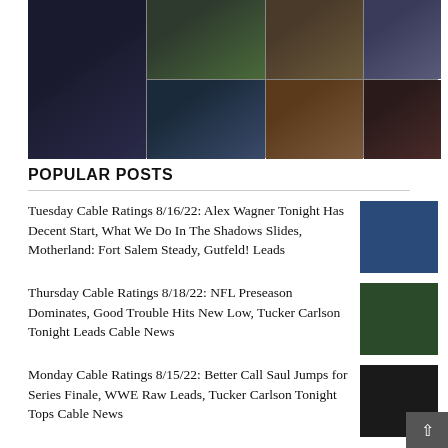[Figure (photo): Collage of TV show stills and news screenshots arranged in a grid]
POPULAR POSTS
Tuesday Cable Ratings 8/16/22: Alex Wagner Tonight Has Decent Start, What We Do In The Shadows Slides, Motherland: Fort Salem Steady, Gutfeld! Leads
[Figure (photo): Thumbnail image of news anchor at desk]
Thursday Cable Ratings 8/18/22: NFL Preseason Dominates, Good Trouble Hits New Low, Tucker Carlson Tonight Leads Cable News
[Figure (photo): Thumbnail image of NFL football players on field]
Monday Cable Ratings 8/15/22: Better Call Saul Jumps for Series Finale, WWE Raw Leads, Tucker Carlson Tonight Tops Cable News
[Figure (photo): Thumbnail image in black and white]